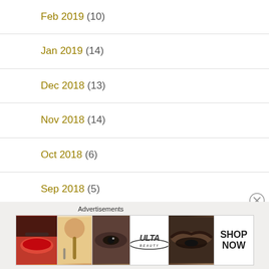Feb 2019 (10)
Jan 2019 (14)
Dec 2018 (13)
Nov 2018 (14)
Oct 2018 (6)
Sep 2018 (5)
Aug 2018 (3)
Advertisements
[Figure (photo): Ulta Beauty advertisement banner showing makeup images including lips, brush, eye, Ulta logo, eyebrows, and SHOP NOW text]